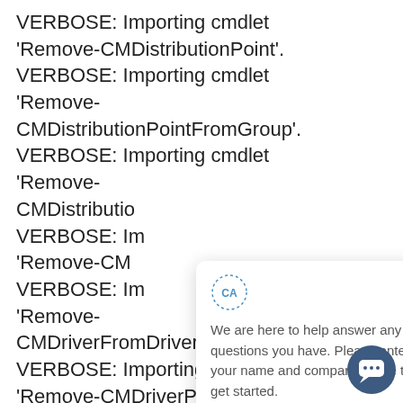VERBOSE: Importing cmdlet 'Remove-CMDistributionPoint'. VERBOSE: Importing cmdlet 'Remove-CMDistributionPointFromGroup'. VERBOSE: Importing cmdlet 'Remove-CMDistributionPoint... VERBOSE: Importing cmdlet 'Remove-CM... VERBOSE: Importing cmdlet 'Remove-CMDriverFromDriverPackage'. VERBOSE: Importing cmdlet 'Remove-CMDriverPackage'.
[Figure (screenshot): A chat popup widget overlay. Shows a 'CA' avatar icon with dotted circle border, an X close button, and text: 'We are here to help answer any questions you have. Please enter your name and company name to get started.' Below is a circular dark blue chat launcher button with a speech bubble icon.]